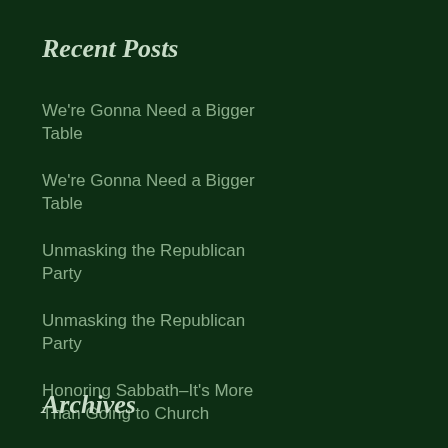Recent Posts
We're Gonna Need a Bigger Table
We're Gonna Need a Bigger Table
Unmasking the Republican Party
Unmasking the Republican Party
Honoring Sabbath–It's More Than Going to Church
Archives
August 2022
July 2022
June 2022
May 2022